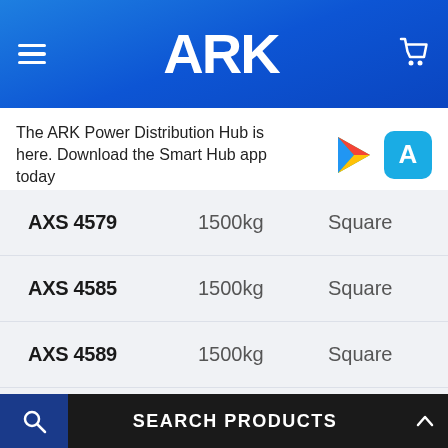ARK
The ARK Power Distribution Hub is here. Download the Smart Hub app today
| Code | Weight | Shape |
| --- | --- | --- |
| AXS4579 | 1500kg | Square |
| AXS4585 | 1500kg | Square |
| AXS4589 | 1500kg | Square |
| AXS4590 | 1500kg | Square |
| AXS4591 | 1500kg | Square |
SEARCH PRODUCTS